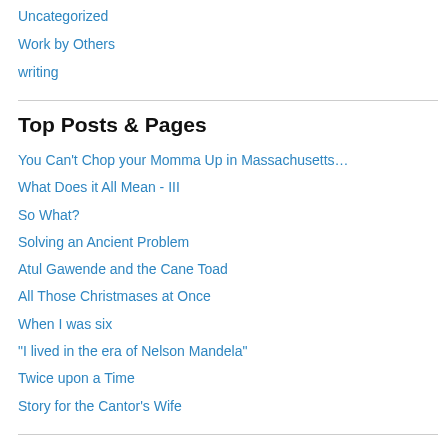Uncategorized
Work by Others
writing
Top Posts & Pages
You Can't Chop your Momma Up in Massachusetts…
What Does it All Mean - III
So What?
Solving an Ancient Problem
Atul Gawende and the Cane Toad
All Those Christmases at Once
When I was six
"I lived in the era of Nelson Mandela"
Twice upon a Time
Story for the Cantor's Wife
Follow Blog via Email